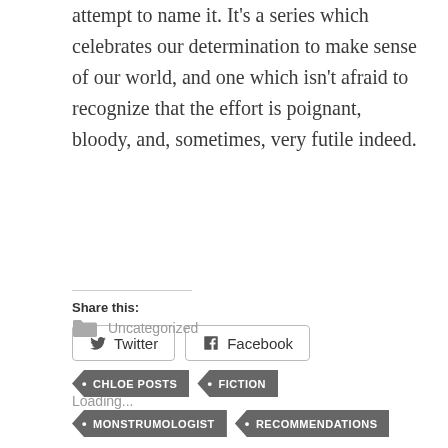attempt to name it. It's a series which celebrates our determination to make sense of our world, and one which isn't afraid to recognize that the effort is poignant, bloody, and, sometimes, very futile indeed.
Share this:
[Figure (other): Social sharing buttons for Twitter and Facebook]
Loading...
Uncategorized
CHLOE POSTS
FICTION
MONSTRUMOLOGIST
RECOMMENDATIONS